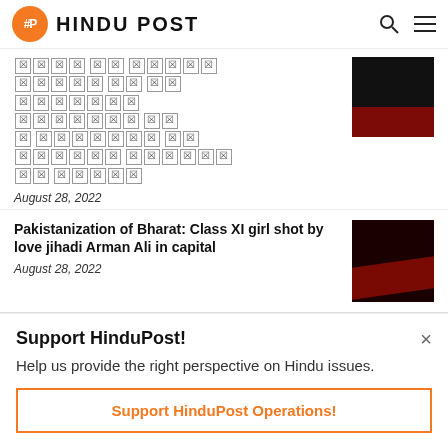HINDU POST
[Figure (screenshot): Article with placeholder image boxes (corrupted/missing text shown as X boxes) and a dark thumbnail image. Date: August 28, 2022]
August 28, 2022
Pakistanization of Bharat: Class XI girl shot by love jihadi Arman Ali in capital
August 28, 2022
Support HinduPost!
Help us provide the right perspective on Hindu issues.
Support HinduPost Operations!